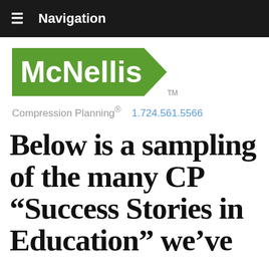≡  Navigation
[Figure (logo): McNellis logo — green pentagon/arrow shape with white bold text 'McNellis' and TM mark below]
Compression Planning®   1.724.561.5566
Below is a sampling of the many CP “Success Stories in Education” we’ve